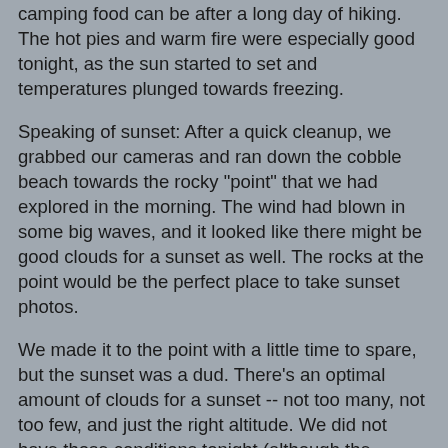camping food can be after a long day of hiking. The hot pies and warm fire were especially good tonight, as the sun started to set and temperatures plunged towards freezing.
Speaking of sunset: After a quick cleanup, we grabbed our cameras and ran down the cobble beach towards the rocky "point" that we had explored in the morning. The wind had blown in some big waves, and it looked like there might be good clouds for a sunset as well. The rocks at the point would be the perfect place to take sunset photos.
We made it to the point with a little time to spare, but the sunset was a dud. There's an optimal amount of clouds for a sunset -- not too many, not too few, and just the right altitude. We did not have those conditions tonight (although the question of how to predict a good sunset brought up the topic of SunsetWX, which is a pretty nifty website that has created a model that predicts sunset quality across the US). We did have some fun photographing the huge waves crashing into the huge rock walls
We stumbled slowly back to the yurt, cursing the fact that we hadn't remembered to bring headlamps. Luckily the nearby